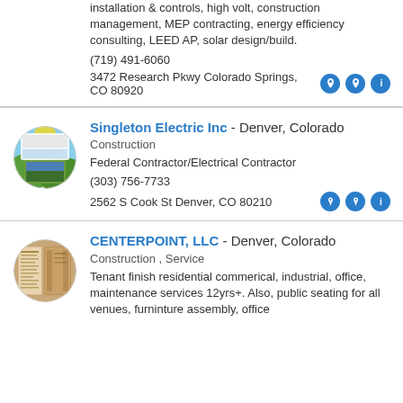installation & controls, high volt, construction management, MEP contracting, energy efficiency consulting, LEED AP, solar design/build.
(719) 491-6060
3472 Research Pkwy Colorado Springs, CO 80920
Singleton Electric Inc - Denver, Colorado
Construction
Federal Contractor/Electrical Contractor
(303) 756-7733
2562 S Cook St Denver, CO 80210
[Figure (photo): Circular thumbnail image showing a landscape/scenic view with green hills and sky, representing Singleton Electric Inc logo/photo]
CENTERPOINT, LLC - Denver, Colorado
Construction , Service
Tenant finish residential commerical, industrial, office, maintenance services 12yrs+. Also, public seating for all venues, furninture assembly, office
[Figure (photo): Circular thumbnail image showing a menu or document display board, representing CENTERPOINT LLC logo/photo]